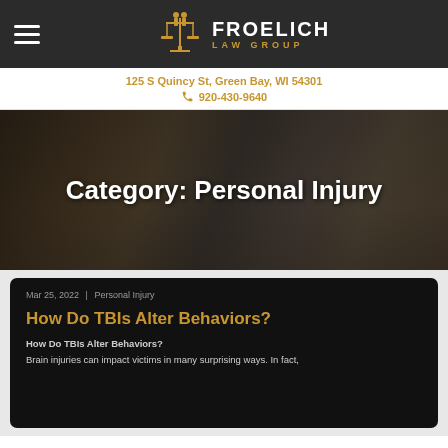Froelich Law Group — 125 S Quincy St, Green Bay, WI 54301 — 920-430-9640
[Figure (logo): Froelich Law Group logo with scales of justice icon]
125 S Quincy St, Green Bay, WI 54301
920-430-9640
Category: Personal Injury
Mar 25, 2022 | Personal Injury
How Do TBIs Alter Behaviors?
How Do TBIs Alter Behaviors?
Brain injuries can impact victims in many surprising ways. In fact,